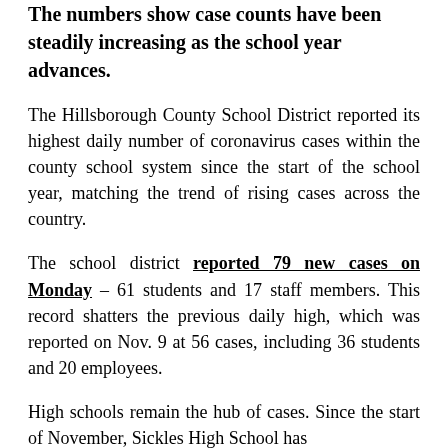The numbers show case counts have been steadily increasing as the school year advances.
The Hillsborough County School District reported its highest daily number of coronavirus cases within the county school system since the start of the school year, matching the trend of rising cases across the country.
The school district reported 79 new cases on Monday – 61 students and 17 staff members. This record shatters the previous daily high, which was reported on Nov. 9 at 56 cases, including 36 students and 20 employees.
High schools remain the hub of cases. Since the start of November, Sickles High School has